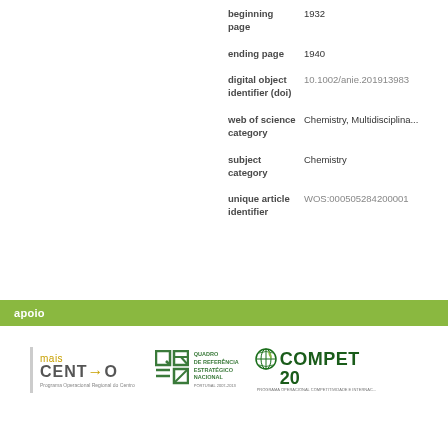| Field | Value |
| --- | --- |
| beginning page | 1932 |
| ending page | 1940 |
| digital object identifier (doi) | 10.1002/anie.201913983 |
| web of science category | Chemistry, Multidisciplina... |
| subject category | Chemistry |
| unique article identifier | WOS:000505284200001 |
apoio
[Figure (logo): mais CENTRO - Programa Operacional Regional do Centro logo]
[Figure (logo): QREN - Quadro de Referência Estratégico Nacional logo]
[Figure (logo): COMPETE 2020 - Programa Operacional Competitividade e Internacionalização logo]